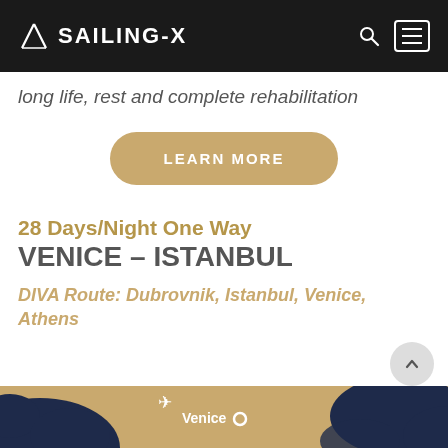SAILING-X
long life, rest and complete rehabilitation
LEARN MORE
28 Days/Night One Way VENICE – ISTANBUL
DIVA Route: Dubrovnik, Istanbul, Venice, Athens
[Figure (map): Map strip showing route with Venice label and plane icon on a gold/dark blue background]